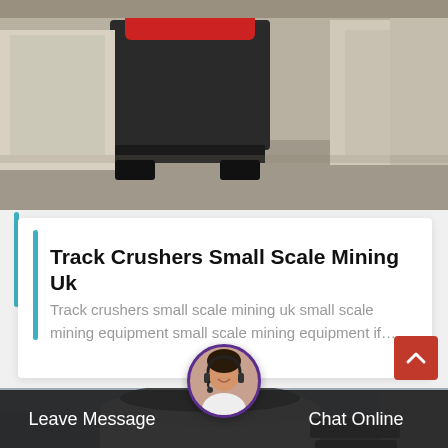[Figure (photo): Industrial crusher machines in a warehouse or factory setting, cream/beige colored equipment on concrete floor]
Track Crushers Small Scale Mining Uk
Track crushers small scale mining uk small scale mining equipment small scale mining equipment if…
[Figure (photo): Large industrial cone crusher machinery inside a factory building with metal framework visible]
Leave Message
Chat Online